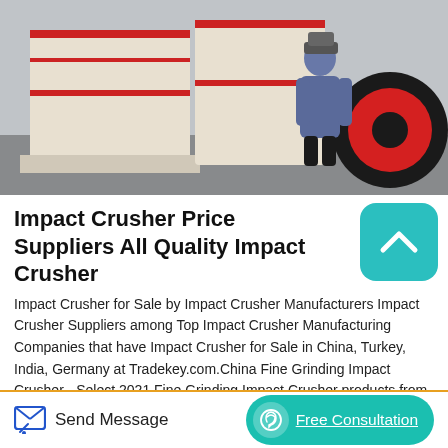[Figure (photo): Industrial impact crusher machines on a factory floor. Large cream/beige colored crushing equipment with red accents and a large black flywheel. A person in a blue jacket stands among the machines.]
Impact Crusher Price Suppliers All Quality Impact Crusher
Impact Crusher for Sale by Impact Crusher Manufacturers Impact Crusher Suppliers among Top Impact Crusher Manufacturing Companies that have Impact Crusher for Sale in China, Turkey, India, Germany at Tradekey.com.China Fine Grinding Impact Crusher - Select 2021 Fine Grinding Impact Crusher products from verified China Fine Grinding Impact Crusher manufacturers, suppliers on Made-in-China.com
Send Message
Free Consultation